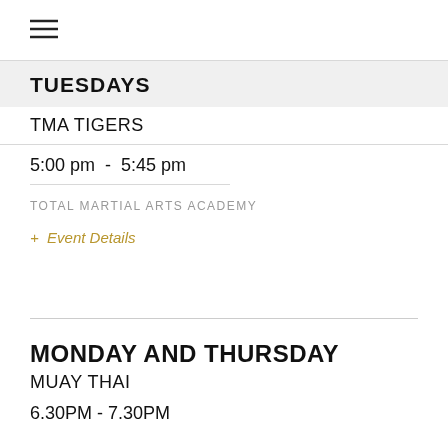[Figure (other): Hamburger menu icon (three horizontal lines)]
TUESDAYS
TMA TIGERS
5:00 pm  -  5:45 pm
TOTAL MARTIAL ARTS ACADEMY
+ Event Details
MONDAY AND THURSDAY
MUAY THAI
6.30PM - 7.30PM